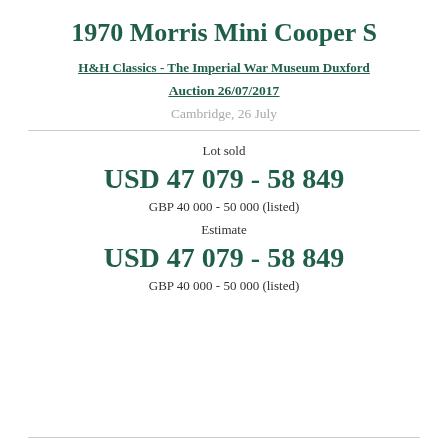1970 Morris Mini Cooper S
H&H Classics - The Imperial War Museum Duxford
Auction 26/07/2017
Cambridge, 26 July
Lot sold
USD 47 079 - 58 849
GBP 40 000 - 50 000 (listed)
Estimate
USD 47 079 - 58 849
GBP 40 000 - 50 000 (listed)